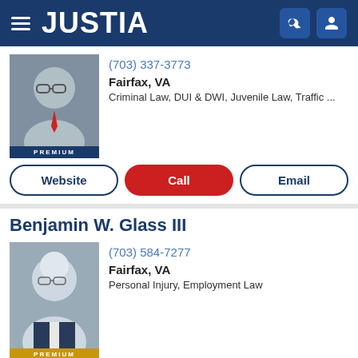JUSTIA
[Figure (photo): Attorney headshot photo with PREMIUM badge]
(703) 337-3773
Fairfax, VA
Criminal Law, DUI & DWI, Juvenile Law, Traffic ...
Website
Call
Email
Benjamin W. Glass III
[Figure (photo): Attorney Benjamin W. Glass III headshot photo with gold PREMIUM badge]
(703) 584-7277
Fairfax, VA
Personal Injury, Employment Law
Website
Call
Email
David Lloyd